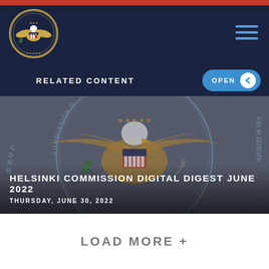[Figure (logo): Commission on Security and Cooperation in Europe seal/logo in top left of navy navigation bar]
RELATED CONTENT
[Figure (illustration): Large US Government Commission on Security and Cooperation in Europe official seal with eagle, shown as watermark/background image in muted grey-blue tones]
HELSINKI COMMISSION DIGITAL DIGEST JUNE 2022
THURSDAY, JUNE 30, 2022
LOAD MORE +